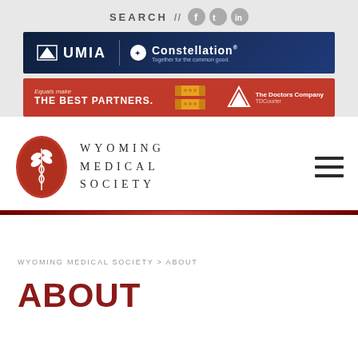SEARCH //
[Figure (logo): UMIA and Constellation insurance advertisement banner - dark blue background]
[Figure (infographic): The Doctors Company - Equals make THE BEST PARTNERS. - red advertisement banner]
[Figure (logo): Wyoming Medical Society logo - red oval with caduceus and wheat]
WYOMING MEDICAL SOCIETY
WYOMING MEDICAL SOCIETY > ABOUT
ABOUT